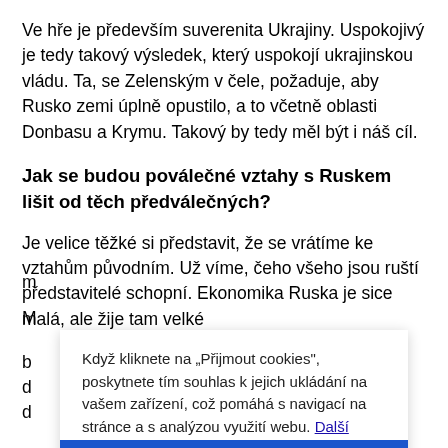Ve hře je především suverenita Ukrajiny. Uspokojivý je tedy takový výsledek, který uspokojí ukrajinskou vládu. Ta, se Zelenským v čele, požaduje, aby Rusko zemi úplně opustilo, a to včetně oblasti Donbasu a Krymu. Takový by tedy měl být i náš cíl.
Jak se budou poválečné vztahy s Ruskem lišit od těch předválečných?
Je velice těžké si představit, že se vrátíme ke vztahům původním. Už víme, čeho všeho jsou ruští představitelé schopní. Ekonomika Ruska je sice malá, ale žije tam velké m...
Když kliknete na „Přijmout cookies", poskytnete tím souhlas k jejich ukládání na vašem zařízení, což pomáhá s navigací na stránce a s analýzou využití webu. Další možnosti ↗